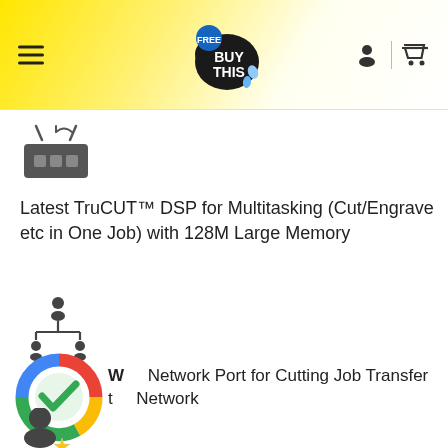BUY THIS
[Figure (illustration): Router/wireless device icon (dark grey)]
Latest TruCUT™ DSP for Multitasking (Cut/Engrave etc in One Job) with 128M Large Memory
[Figure (illustration): Network/hierarchy icon (dark grey)]
[Figure (logo): Google-colored circular logo with green checkmark overlay]
W    Network Port for Cutting Job Transfer t    Network
[Figure (illustration): User/person icon with star badge (dark grey)]